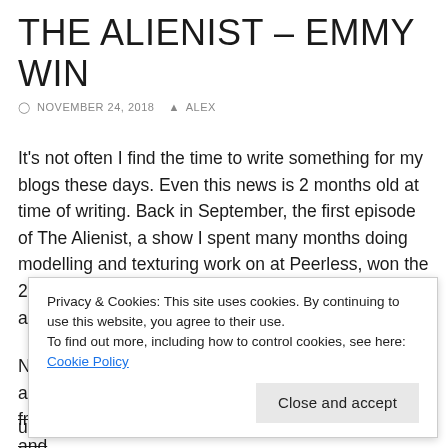THE ALIENIST – EMMY WIN
NOVEMBER 24, 2018   ALEX
It's not often I find the time to write something for my blogs these days. Even this news is 2 months old at time of writing. Back in September, the first episode of The Alienist, a show I spent many months doing modelling and texturing work on at Peerless, won the 2018 Emmy for Outstanding Special Visual Effects in a Supporting Role!
Needless to say it has gone on the CV. My colleague and good friend Rasik hopped over to LA (bravely I might add) and p... b... w... a... upwards!
Privacy & Cookies: This site uses cookies. By continuing to use this website, you agree to their use.
To find out more, including how to control cookies, see here: Cookie Policy
Close and accept